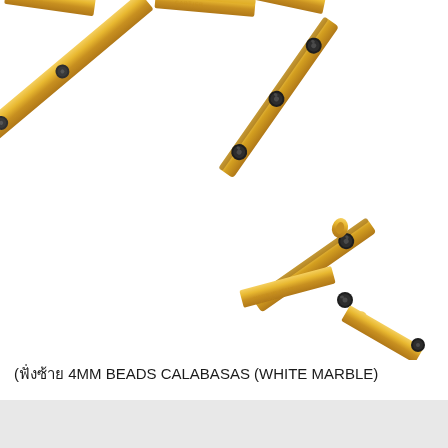[Figure (photo): A gold-colored open cuff bracelet with black round beads/studs set into the flat band. The bracelet has a rectangular flat profile with engraved text visible on the inner surface. The image shows the bracelet at an angle on a white background, with the open ends of the cuff visible.]
(ฝั่งซ้าย 4MM BEADS CALABASAS (WHITE MARBLE)